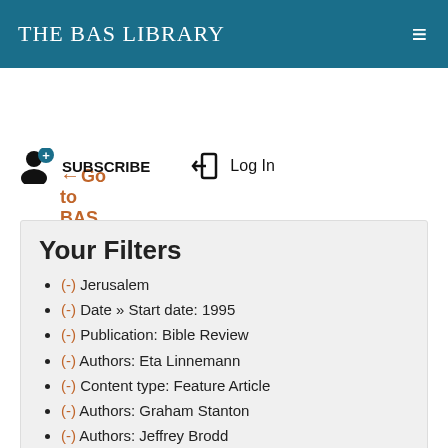The BAS Library
←Go to BAS Home
SUBSCRIBE   Log In
Your Filters
(-) Jerusalem
(-) Date » Start date: 1995
(-) Publication: Bible Review
(-) Authors: Eta Linnemann
(-) Content type: Feature Article
(-) Authors: Graham Stanton
(-) Authors: Jeffrey Brodd
(-) Authors: Hector Avalos